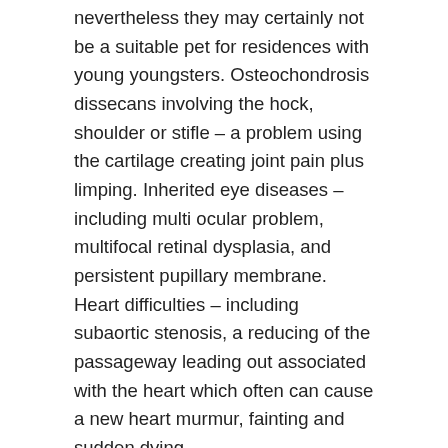nevertheless they may certainly not be a suitable pet for residences with young youngsters. Osteochondrosis dissecans involving the hock, shoulder or stifle – a problem using the cartilage creating joint pain plus limping. Inherited eye diseases – including multi ocular problem, multifocal retinal dysplasia, and persistent pupillary membrane. Heart difficulties – including subaortic stenosis, a reducing of the passageway leading out associated with the heart which often can cause a new heart murmur, fainting and sudden dying.
Similar Breeds:
It has been suggested that Rottweilers are three to